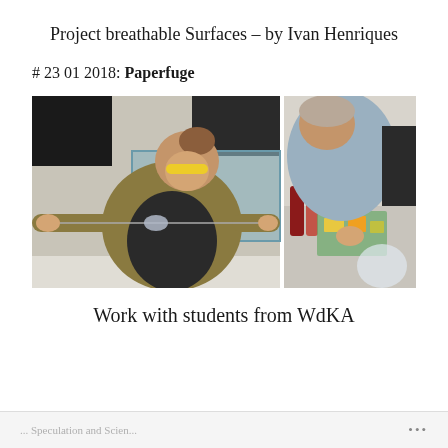Project breathable Surfaces – by Ivan Henriques
# 23 01 2018: Paperfuge
[Figure (photo): Two side-by-side photos: left shows a student wearing yellow safety glasses stretching a string with a disc (paperfuge) in a lab; right shows another student working with small components on a lab bench with red liquid bottles]
Work with students from WdKA
... Speculation and Scien...